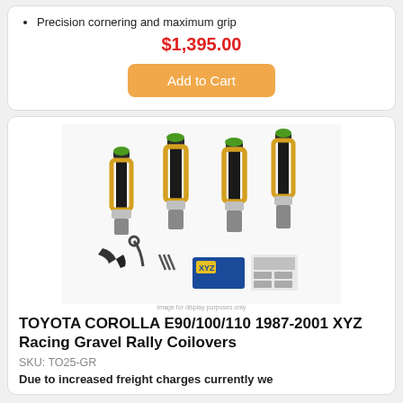Precision cornering and maximum grip
$1,395.00
Add to Cart
[Figure (photo): XYZ Racing Gravel Rally Coilovers product photo showing four coilover struts with yellow/gold springs and black bodies, along with installation tools and branded packaging]
TOYOTA COROLLA E90/100/110 1987-2001 XYZ Racing Gravel Rally Coilovers
SKU: TO25-GR
Due to increased freight charges currently we